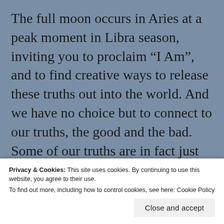The full moon occurs in Aries at a peak moment in Libra season, inviting you to proclaim “I Am”, and to find creative ways to release these truths out into the world. And we have no choice but to connect to our truths, the good and the bad. Some of our truths are in fact just lies that we’ve allowed to masquerade as our truths for far too long. For one, it’s easy to tell someone, or even yourself, “I’m happy”, when you know that you’re not. And maybe it’s not that you’re unhappy, but perhaps just unsatisfied with some area of life. A
Privacy & Cookies: This site uses cookies. By continuing to use this website, you agree to their use.
To find out more, including how to control cookies, see here: Cookie Policy
Close and accept